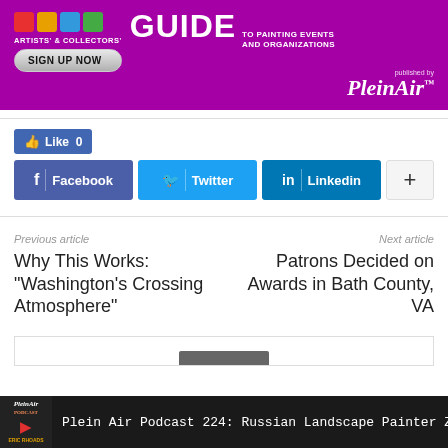[Figure (infographic): Purple banner advertisement for Artists' & Collectors' Guide to Painting Events and Organizations, with Sign Up Now button, published by PleinAir]
[Figure (infographic): Like 0 Facebook Like button in blue]
[Figure (infographic): Social sharing buttons: Facebook, Twitter, LinkedIn, and a plus button]
Previous article
Why This Works: "Washington's Crossing Atmosphere"
Next article
Patrons Decided on Awards in Bath County, VA
[Figure (infographic): Plein Air Podcast bar at bottom: Plein Air Podcast 224: Russian Landscape Painter Zufar Bikbo]